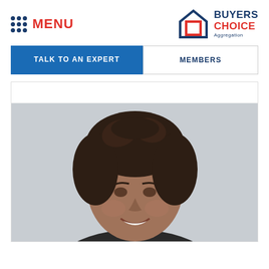MENU
[Figure (logo): Buyers Choice Aggregation logo with house icon in blue and red]
TALK TO AN EXPERT
MEMBERS
[Figure (photo): Portrait photo of a middle-aged woman with curly dark hair, smiling, wearing dark clothing, against a light grey background]